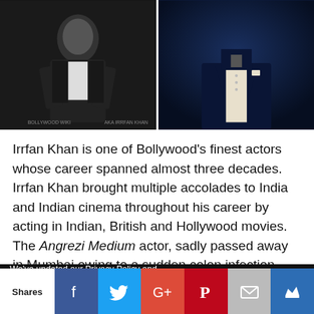[Figure (photo): Two photos side by side: left - black and white photo of a man in suit sitting casually; right - man in dark tuxedo with bow tie on dark blue background]
Irrfan Khan is one of Bollywood's finest actors whose career spanned almost three decades.  Irrfan Khan brought multiple accolades to India and Indian cinema throughout his career by acting in Indian, British and Hollywood movies. The Angrezi Medium actor, sadly passed away in Mumbai owing to a sudden colon infection.  Khan recently battled
We've updated our Privacy Policy and Terms of Service to make sure the usage of users data in a more clearer way. Click "Okay, I
Okay, I Understand
Shares